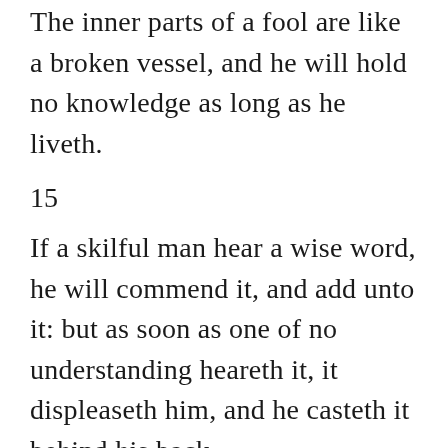The inner parts of a fool are like a broken vessel, and he will hold no knowledge as long as he liveth.
15
If a skilful man hear a wise word, he will commend it, and add unto it: but as soon as one of no understanding heareth it, it displeaseth him, and he casteth it behind his back.